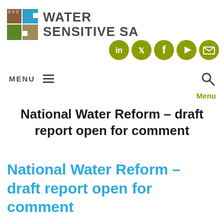[Figure (logo): Water Sensitive SA logo — four-square grid icon in brown, blue, green, and khaki/tan colors next to bold uppercase text 'WATER SENSITIVE SA']
[Figure (infographic): Five olive-green circular social media icons: LinkedIn, Twitter, Facebook, YouTube, and Email/envelope]
MENU ≡
Menu
National Water Reform – draft report open for comment
National Water Reform – draft report open for comment